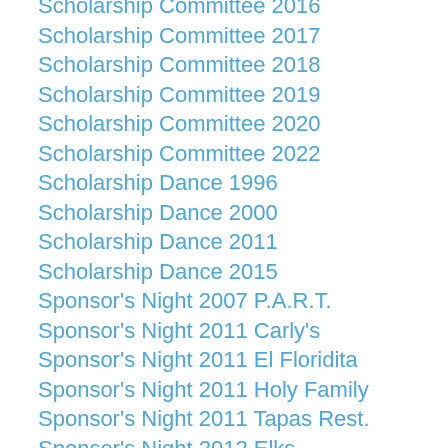Scholarship Committee 2016
Scholarship Committee 2017
Scholarship Committee 2018
Scholarship Committee 2019
Scholarship Committee 2020
Scholarship Committee 2022
Scholarship Dance 1996
Scholarship Dance 2000
Scholarship Dance 2011
Scholarship Dance 2015
Sponsor's Night 2007 P.A.R.T.
Sponsor's Night 2011 Carly's
Sponsor's Night 2011 El Floridita
Sponsor's Night 2011 Holy Family
Sponsor's Night 2011 Tapas Rest.
Sponsor's Night 2012 Elks
Sponsor's Night 2012 Holy Family
Sponsor's Night 2013 Carly's
Sponsor's Night 2013 Med of PB
Sponsor's Night 2014 Carly's